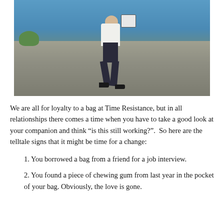[Figure (photo): A person sitting on top of a concrete wall against a blue sky, wearing dark trousers and a white shirt, holding or wearing a bag over their head/shoulder obscuring their face.]
We are all for loyalty to a bag at Time Resistance, but in all relationships there comes a time when you have to take a good look at your companion and think “is this still working?”.  So here are the telltale signs that it might be time for a change:
1. You borrowed a bag from a friend for a job interview.
2. You found a piece of chewing gum from last year in the pocket of your bag. Obviously, the love is gone.